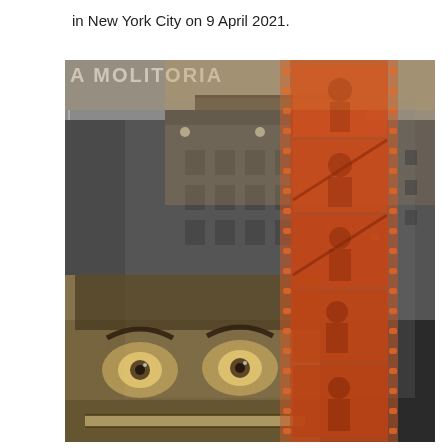in New York City on 9 April 2021.
[Figure (photo): A composite photographic image showing overlapping layers: a black-and-white urban street scene with a building bearing the partial text 'A MOLITORIA', overlaid with a sepia-toned image of a face with wide, startled eyes peering over something (lower left), and a vertical strip of orange/red film negative showing multiple frames of a person in various poses (center-right).]